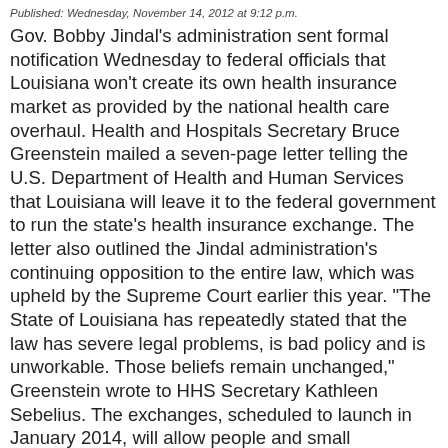Published: Wednesday, November 14, 2012 at 9:12 p.m.
Gov. Bobby Jindal's administration sent formal notification Wednesday to federal officials that Louisiana won't create its own health insurance market as provided by the national health care overhaul.
Health and Hospitals Secretary Bruce Greenstein mailed a seven-page letter telling the U.S. Department of Health and Human Services that Louisiana will leave it to the federal government to run the state's health insurance exchange.
The letter also outlined the Jindal administration's continuing opposition to the entire law, which was upheld by the Supreme Court earlier this year.
"The State of Louisiana has repeatedly stated that the law has severe legal problems, is bad policy and is unworkable. Those beliefs remain unchanged," Greenstein wrote to HHS Secretary Kathleen Sebelius.
The exchanges, scheduled to launch in January 2014, will allow people and small businesses to shop for private coverage from a range of competing insurers. They are supposed to be ready to begin enrolling people in October 2013.
Jindal, a Republican who is considered a possible White House contender, has sought repeal of President Barack